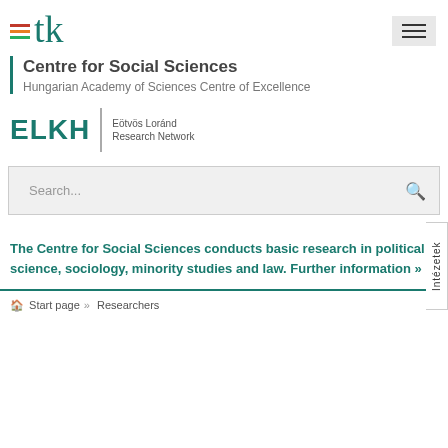[Figure (logo): TK logo with colored horizontal stripes and 'tk' text in teal]
[Figure (logo): Hamburger menu icon (three horizontal lines) in grey box]
Centre for Social Sciences
Hungarian Academy of Sciences Centre of Excellence
[Figure (logo): ELKH - Eötvös Loránd Research Network logo]
Search...
Intézetek
The Centre for Social Sciences conducts basic research in political science, sociology, minority studies and law. Further information »
Start page » Researchers